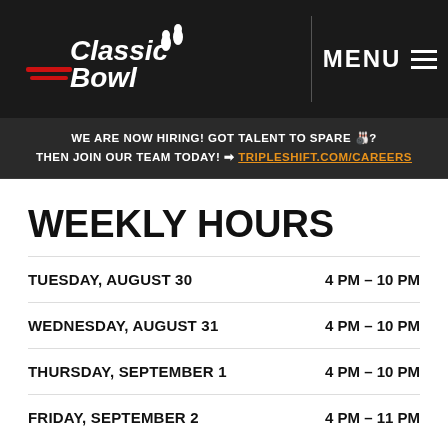Classic Bowl | MENU
WE ARE NOW HIRING! GOT TALENT TO SPARE 🎳? THEN JOIN OUR TEAM TODAY! ➡ TRIPLESHIFT.COM/CAREERS
WEEKLY HOURS
| Day | Hours |
| --- | --- |
| TUESDAY, AUGUST 30 | 4 PM - 10 PM |
| WEDNESDAY, AUGUST 31 | 4 PM - 10 PM |
| THURSDAY, SEPTEMBER 1 | 4 PM - 10 PM |
| FRIDAY, SEPTEMBER 2 | 4 PM - 11 PM |